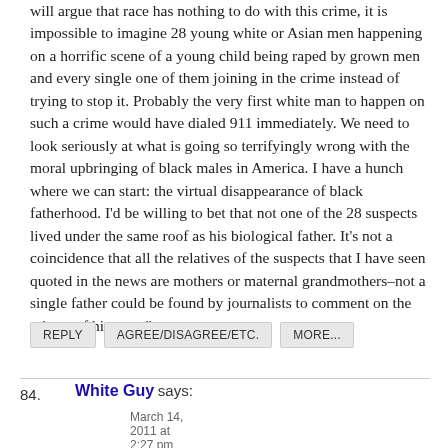will argue that race has nothing to do with this crime, it is impossible to imagine 28 young white or Asian men happening on a horrific scene of a young child being raped by grown men and every single one of them joining in the crime instead of trying to stop it. Probably the very first white man to happen on such a crime would have dialed 911 immediately. We need to look seriously at what is going so terrifyingly wrong with the moral upbringing of black males in America. I have a hunch where we can start: the virtual disappearance of black fatherhood. I'd be willing to bet that not one of the 28 suspects lived under the same roof as his biological father. It's not a coincidence that all the relatives of the suspects that I have seen quoted in the news are mothers or maternal grandmothers–not a single father could be found by journalists to comment on the crimes of his sons."
REPLY
AGREE/DISAGREE/ETC.
MORE...
84. White Guy says:
March 14, 2011 at 2:27 pm GMT • 11.6 years ago • 200 Words ↑